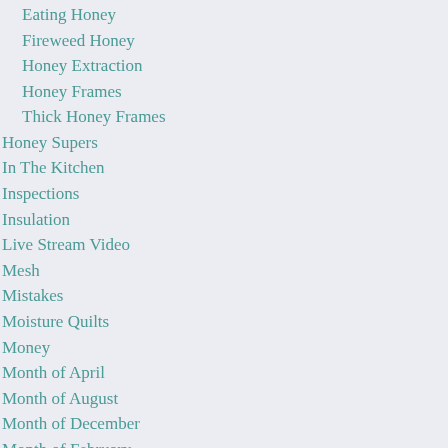Eating Honey
Fireweed Honey
Honey Extraction
Honey Frames
Thick Honey Frames
Honey Supers
In The Kitchen
Inspections
Insulation
Live Stream Video
Mesh
Mistakes
Moisture Quilts
Money
Month of April
Month of August
Month of December
Month of February
Month of January
Month of July
Month of June
Month of March
Month of May